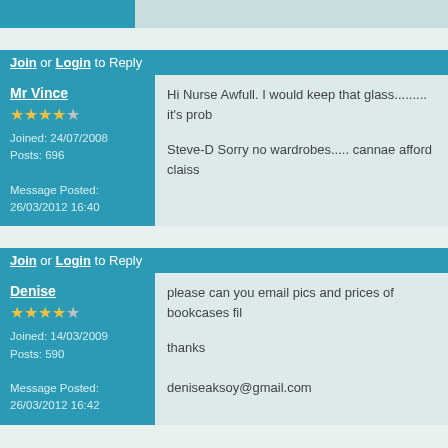Join or Login to Reply
Mr Vince
Joined: 24/07/2008
Posts: 696
Message Posted: 26/03/2012 16:40
Hi Nurse Awfull. I would keep that glass......... it's prob
Steve-D Sorry no wardrobes..... cannae afford claiss
Join or Login to Reply
Denise
Joined: 14/03/2009
Posts: 590
Message Posted: 26/03/2012 16:42
please can you email pics and prices of bookcases fil
thanks
deniseaksoy@gmail.com